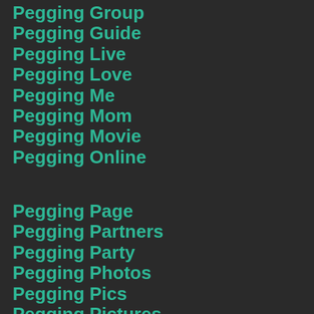Pegging Group
Pegging Guide
Pegging Live
Pegging Love
Pegging Me
Pegging Mom
Pegging Movie
Pegging Online
Pegging Page
Pegging Partners
Pegging Party
Pegging Photos
Pegging Pics
Pegging Pictures
Pegging Place
Pegging Porn